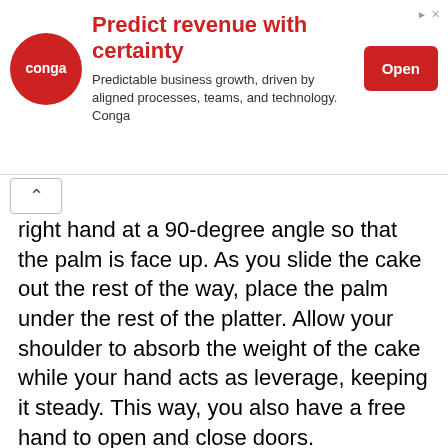[Figure (other): Advertisement banner for Conga: 'Predict revenue with certainty. Predictable business growth, driven by aligned processes, teams, and technology. Conga' with logo and Open button]
right hand at a 90-degree angle so that the palm is face up. As you slide the cake out the rest of the way, place the palm under the rest of the platter. Allow your shoulder to absorb the weight of the cake while your hand acts as leverage, keeping it steady. This way, you also have a free hand to open and close doors.
To get the cake into the vehicle, reverse the order of the above action. Crouch down so that the cake platter is level with the back of the vehicle. Inch your right fingers out of the way so that the lip of the cake can rest on the edge of the floor of the backseat. Slide the cake into the car and off your shoulder.